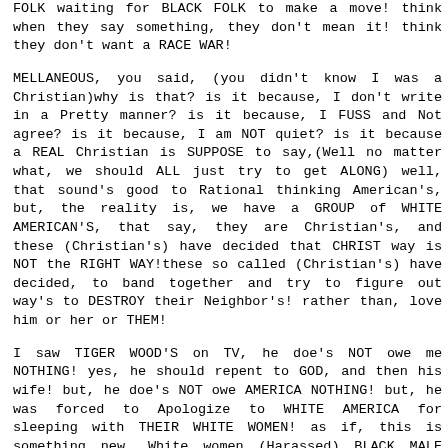FOLK waiting for BLACK FOLK to make a move! think when they say something, they don't mean it! think they don't want a RACE WAR!
MELLANEOUS, you said, (you didn't know I was a Christian)why is that? is it because, I don't write in a Pretty manner? is it because, I FUSS and Not agree? is it because, I am NOT quiet? is it because a REAL Christian is SUPPOSE to say,(Well no matter what, we should ALL just try to get ALONG) well, that sound's good to Rational thinking American's, but, the reality is, we have a GROUP of WHITE AMERICAN'S, that say, they are Christian's, and these (Christian's) have decided that CHRIST way is NOT the RIGHT WAY!these so called (Christian's) have decided, to band together and try to figure out way's to DESTROY their Neighbor's! rather than, love him or her or THEM!
I saw TIGER WOOD'S on TV, he doe's NOT owe me NOTHING! yes, he should repent to GOD, and then his wife! but, he doe's NOT owe AMERICA NOTHING! but, he was forced to Apologize to WHITE AMERICA for sleeping with THEIR WHITE WOMEN! as if, this is something new, White women (Harassed) BLACK MALE SLAVE'S during